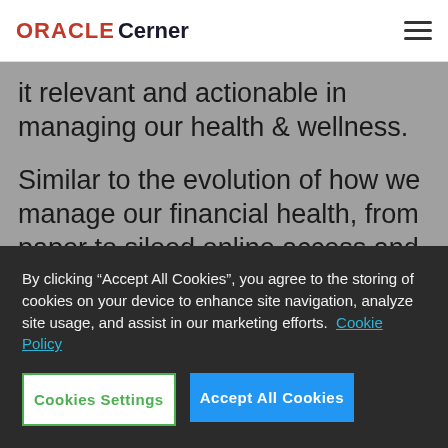ORACLE Cerner
it relevant and actionable in managing our health & wellness.
Similar to the evolution of how we manage our financial health, from paper to siloed online access and then to open and connected, a similar evolution is already happening in healthcare today. In the GCC today
By clicking “Accept All Cookies”, you agree to the storing of cookies on your device to enhance site navigation, analyze site usage, and assist in our marketing efforts. Cookie Policy
Cookies Settings
Accept All Cookies